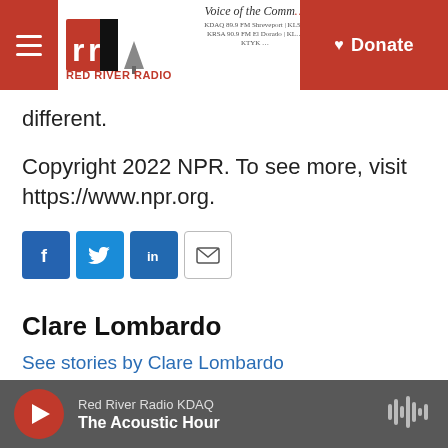Red River Radio | Voice of the Community | Donate
different.
Copyright 2022 NPR. To see more, visit https://www.npr.org.
[Figure (other): Social sharing icons: Facebook, Twitter, LinkedIn, Email]
Clare Lombardo
See stories by Clare Lombardo
Red River Radio KDAQ | The Acoustic Hour